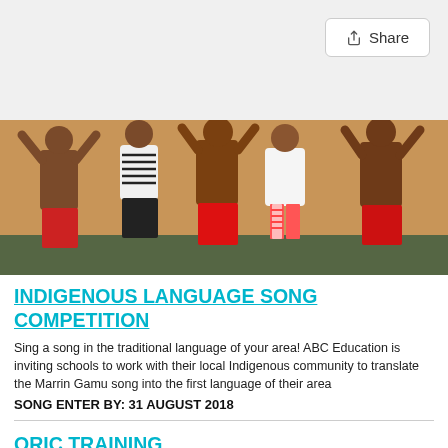Share
[Figure (photo): Group of children and young people wearing red traditional garments, some with arms raised, performing or dancing in an indoor setting]
INDIGENOUS LANGUAGE SONG COMPETITION
Sing a song in the traditional language of your area! ABC Education is inviting schools to work with their local Indigenous community to translate the Marrin Gamu song into the first language of their area
SONG ENTER BY: 31 AUGUST 2018
ORIC TRAINING
The Office of the Registrar of Indigenous Corporations (ORIC) have a number of upcoming training opportunities free to Directors and members